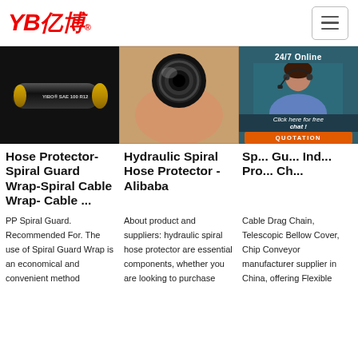YB亿博® — navigation logo and hamburger menu
[Figure (photo): Black rubber hose with gold end cap, labeled YIBO SAE 100 R12, on white background]
[Figure (photo): Hand holding a black hydraulic spiral hose, showing the end cross-section]
[Figure (photo): 24/7 Online customer support representative with headset, dark teal overlay, Click here for free chat and QUOTATION button]
Hose Protector- Spiral Guard Wrap-Spiral Cable Wrap- Cable ...
Hydraulic Spiral Hose Protector - Alibaba
Sp... Gu... Ind... Pro... Ch...
PP Spiral Guard. Recommended For. The use of Spiral Guard Wrap is an economical and convenient method
About product and suppliers: hydraulic spiral hose protector are essential components, whether you are looking to purchase
Cable Drag Chain, Telescopic Bellow Cover, Chip Conveyor manufacturer supplier in China, offering Flexible